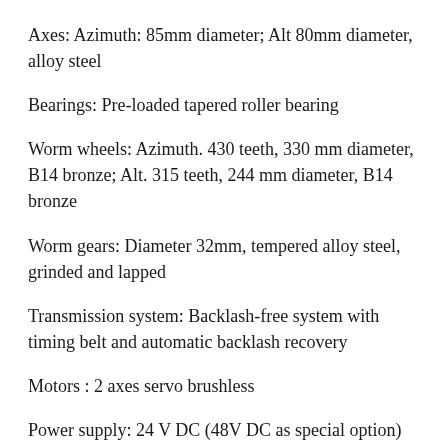Axes: Azimuth: 85mm diameter; Alt 80mm diameter, alloy steel
Bearings: Pre-loaded tapered roller bearing
Worm wheels: Azimuth. 430 teeth, 330 mm diameter, B14 bronze; Alt. 315 teeth, 244 mm diameter, B14 bronze
Worm gears: Diameter 32mm, tempered alloy steel, grinded and lapped
Transmission system: Backlash-free system with timing belt and automatic backlash recovery
Motors : 2 axes servo brushless
Power supply: 24 V DC (48V DC as special option)